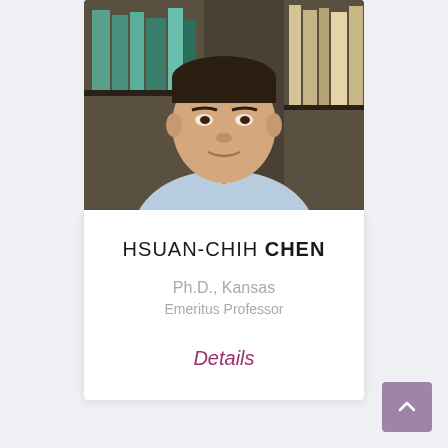[Figure (photo): Headshot photo of Hsuan-Chih Chen, a middle-aged Asian man in a light blue shirt, with bookshelves visible in the background.]
HSUAN-CHIH CHEN
Ph.D., Kansas
Emeritus Professor
Details